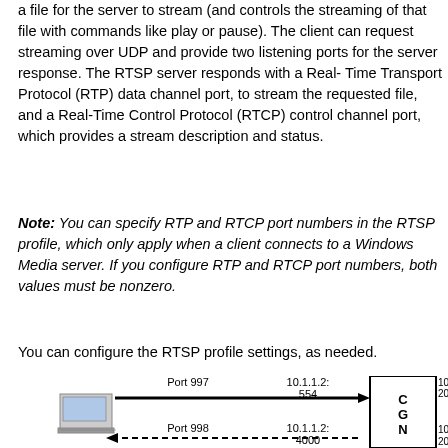a file for the server to stream (and controls the streaming of that file with commands like play or pause). The client can request streaming over UDP and provide two listening ports for the server response. The RTSP server responds with a Real-Time Transport Protocol (RTP) data channel port, to stream the requested file, and a Real-Time Control Protocol (RTCP) control channel port, which provides a stream description and status.
Note: You can specify RTP and RTCP port numbers in the RTSP profile, which only apply when a client connects to a Windows Media server. If you configure RTP and RTCP port numbers, both values must be nonzero.
You can configure the RTSP profile settings, as needed.
[Figure (network-graph): Network diagram showing RTSP/RTP traffic flow through a CGN device. Left side shows a laptop client with Port 997 sending to 10.1.1.2:554 via solid arrow, and Port 998 receiving from 10.1.1.2:4000 via dashed arrow. Center shows a CGN box. Right side shows 10.33.1.4:2000 and 10.33.1.4:2002 with partial port labels (Po...) and arrows indicating traffic direction.]